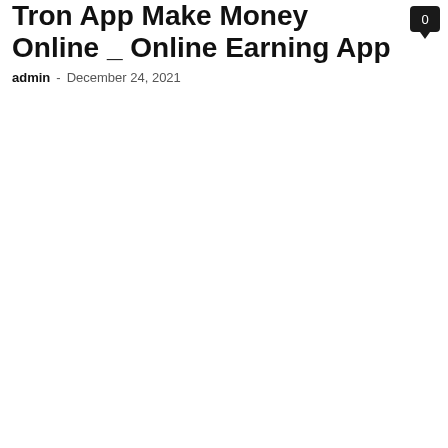Tron App Make Money Online _ Online Earning App
admin - December 24, 2021
[Figure (other): Comment count badge showing 0]